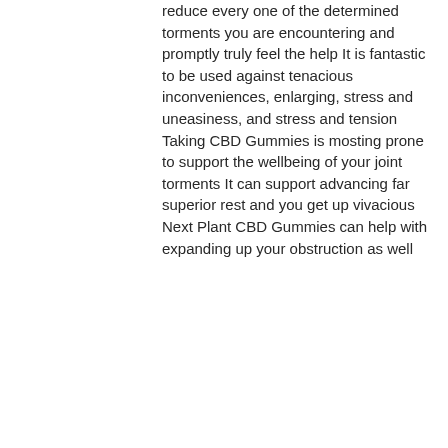reduce every one of the determined torments you are encountering and promptly truly feel the help It is fantastic to be used against tenacious inconveniences, enlarging, stress and uneasiness, and stress and tension Taking CBD Gummies is mosting prone to support the wellbeing of your joint torments It can support advancing far superior rest and you get up vivacious Next Plant CBD Gummies can help with expanding up your obstruction as well
[Figure (photo): A blurred product photo of a supplement bottle (likely CBD gummies) on a bright green background. The bottle is white with a label, and the image is out of focus.]